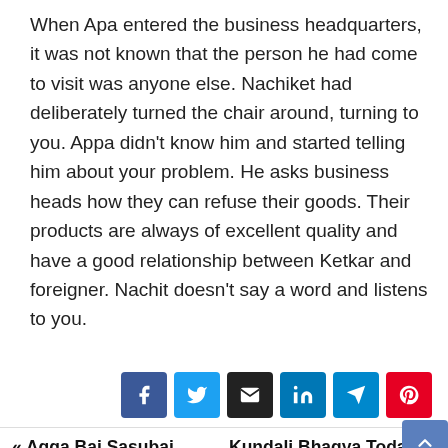When Apa entered the business headquarters, it was not known that the person he had come to visit was anyone else. Nachiket had deliberately turned the chair around, turning to you. Appa didn't know him and started telling him about your problem. He asks business heads how they can refuse their goods. Their products are always of excellent quality and have a good relationship between Ketkar and foreigner. Nachit doesn't say a word and listens to you.
[Figure (other): Social share buttons: Facebook, Twitter, Email, LinkedIn, Telegram, Pinterest]
« Agga Bai Sasubai Today | Kundali Bhagya Today Episode 3